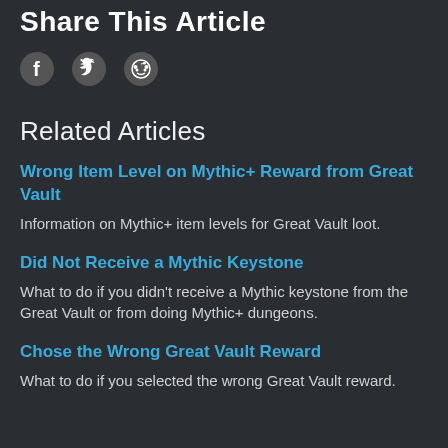Share This Article
[Figure (illustration): Social sharing icons: Facebook (f), Twitter (bird), Reddit (alien)]
Related Articles
Wrong Item Level on Mythic+ Reward from Great Vault
Information on Mythic+ item levels for Great Vault loot.
Did Not Receive a Mythic Keystone
What to do if you didn't receive a Mythic keystone from the Great Vault or from doing Mythic+ dungeons.
Chose the Wrong Great Vault Reward
What to do if you selected the wrong Great Vault reward.